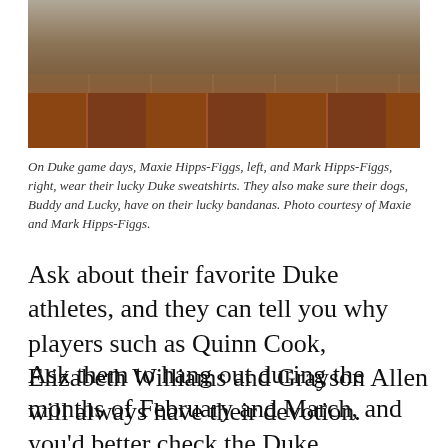[Figure (photo): Photo of people and dogs on brick steps/surface, showing feet/shoes of two people and two small dogs with bandanas]
On Duke game days, Maxie Hipps-Figgs, left, and Mark Hipps-Figgs, right, wear their lucky Duke sweatshirts. They also make sure their dogs, Buddy and Lucky, have on their lucky bandanas. Photo courtesy of Maxie and Mark Hipps-Figgs.
Ask about their favorite Duke athletes, and they can tell you why players such as Quinn Cook, Elizabeth Williams and Grayson Allen will always have their devotion.
Ask them to hang out during the months of February and March, and you'd better check the Duke basketball schedules first. If there's a women's game at home, they'll likely be in Cameron Indoor Stadium. If the Blue Devils